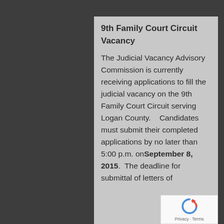9th Family Court Circuit Vacancy
The Judicial Vacancy Advisory Commission is currently receiving applications to fill the judicial vacancy on the 9th Family Court Circuit serving Logan County.   Candidates must submit their completed applications by no later than 5:00 p.m. on September 8, 2015.  The deadline for submittal of letters of